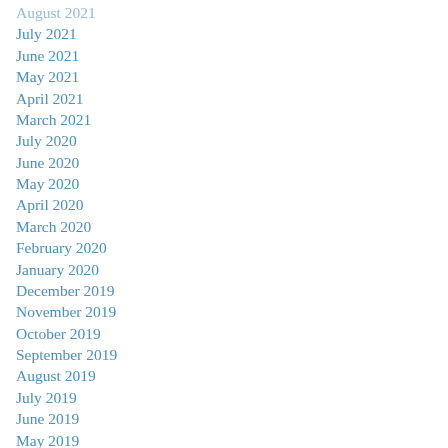August 2021
July 2021
June 2021
May 2021
April 2021
March 2021
July 2020
June 2020
May 2020
April 2020
March 2020
February 2020
January 2020
December 2019
November 2019
October 2019
September 2019
August 2019
July 2019
June 2019
May 2019